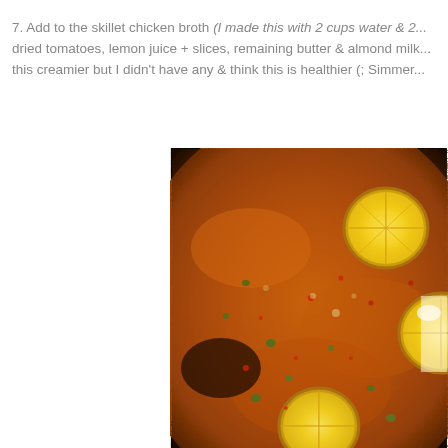7. Add to the skillet chicken broth (I made this with 2 cups water & 2... dried tomatoes, lemon juice + slices, remaining butter & almond milk... this creamier but I didn't have any & think this is healthier (; Simmer...
[Figure (photo): Close-up photo of a simmering skillet with orange/amber broth, lemon slices, capers, and red speckles visible on the surface.]